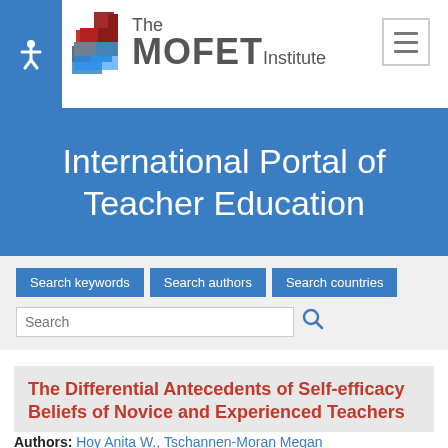[Figure (logo): The MOFET Institute logo with stacked red/brown blocks and text]
International Portal of Teacher Education
Search keywords | Search authors | Search countries | Search
The Differential Antecedents of Self-efficacy Beliefs of Novice and Experienced Teachers
Authors: Hoy Anita W., Tschannen-Moran Megan
Countries: USA
Published: Aug 15, 2007